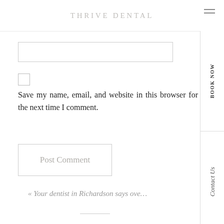THRIVE DENTAL
[Figure (screenshot): Text input field, empty, with light gray border]
[Figure (screenshot): Empty checkbox square with light gray border]
Save my name, email, and website in this browser for the next time I comment.
[Figure (screenshot): Post Comment button with light gray border and gray italic text]
« Your dentist in Richardson says ove...